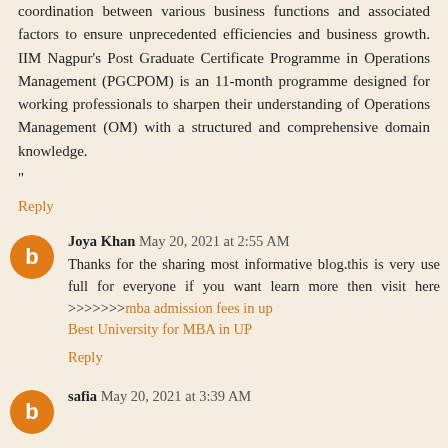...This dynamic shift in the industry has necessitated enhanced coordination between various business functions and associated factors to ensure unprecedented efficiencies and business growth. IIM Nagpur's Post Graduate Certificate Programme in Operations Management (PGCPOM) is an 11-month programme designed for working professionals to sharpen their understanding of Operations Management (OM) with a structured and comprehensive domain knowledge.
"
Reply
Joya Khan May 20, 2021 at 2:55 AM
Thanks for the sharing most informative blog.this is very use full for everyone if you want learn more then visit here >>>>>>>mba admission fees in up
Best University for MBA in UP
Reply
safia May 20, 2021 at 3:39 AM